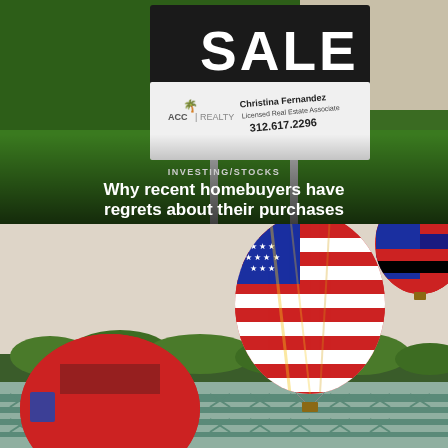[Figure (photo): A real estate for sale sign with ACC Realty branding and agent Christina Fernandez, Licensed Real Estate Associate, phone 312.617.2296, placed in a grassy yard]
INVESTING/STOCKS
Why recent homebuyers have regrets about their purchases
[Figure (photo): Hot air balloons over a river and bridge; one large American flag themed balloon in center, a red balloon partially visible on lower left, a red/blue/orange balloon in upper right corner]